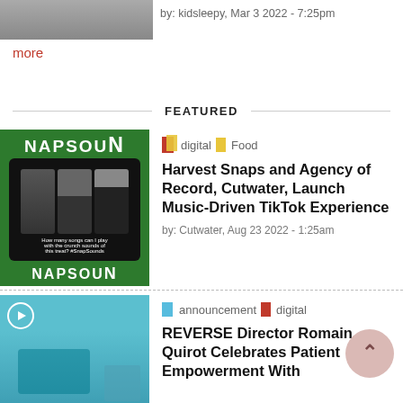[Figure (photo): Partial image of a person, cropped at top]
by: kidsleepy, Mar 3 2022 - 7:25pm
more
FEATURED
[Figure (photo): NapSound TikTok promotional image with green background and phone screenshots]
digital Food
Harvest Snaps and Agency of Record, Cutwater, Launch Music-Driven TikTok Experience
by: Cutwater, Aug 23 2022 - 1:25am
[Figure (photo): Pool scene photo with play button icon, viewed from above]
announcement digital
REVERSE Director Romain Quirot Celebrates Patient Empowerment With